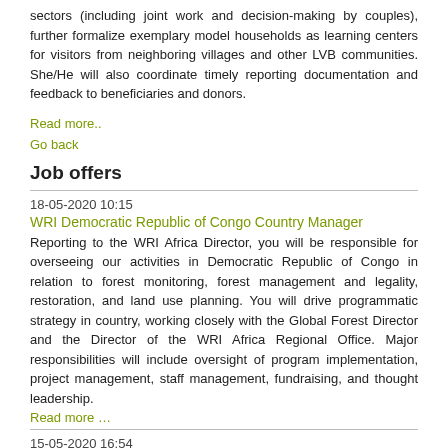sectors (including joint work and decision-making by couples), further formalize exemplary model households as learning centers for visitors from neighboring villages and other LVB communities. She/He will also coordinate timely reporting documentation and feedback to beneficiaries and donors.
Read more..
Go back
Job offers
18-05-2020 10:15
WRI Democratic Republic of Congo Country Manager
Reporting to the WRI Africa Director, you will be responsible for overseeing our activities in Democratic Republic of Congo in relation to forest monitoring, forest management and legality, restoration, and land use planning. You will drive programmatic strategy in country, working closely with the Global Forest Director and the Director of the WRI Africa Regional Office. Major responsibilities will include oversight of program implementation, project management, staff management, fundraising, and thought leadership.
Read more …
15-05-2020 16:54
SOS African Wildlife Rapid Action Grants
As a part of our SOS African Wildlife initiative, we are inviting proposals for Rapid Action Grants targeting terrestrial or freshwater threatened species in continental Sub-Saharan Africa and Madagascar.
Read more …
15-05-2020 16:19
Aspire Grant Program Application